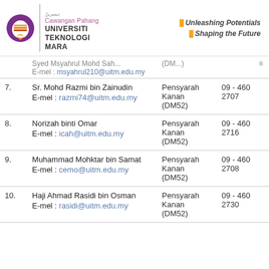[Figure (logo): Universiti Teknologi MARA (UiTM) Cawangan Pahang logo with slogan Unleashing Potentials Shaping the Future]
| No. | Nama/E-mel | Jawatan | No. Tel |
| --- | --- | --- | --- |
|  | Syed...Mohd... / E-mel: msyahrul210@uitm.edu.my | (DM...) | ... |
| 7. | Sr. Mohd Razmi bin Zainudin / E-mel: razmi74@uitm.edu.my | Pensyarah Kanan (DM52) | 09 - 460 2707 |
| 8. | Norizah binti Omar / E-mel: icah@uitm.edu.my | Pensyarah Kanan (DM52) | 09 - 460 2716 |
| 9. | Muhammad Mohktar bin Samat / E-mel: cemo@uitm.edu.my | Pensyarah Kanan (DM52) | 09 - 460 2708 |
| 10. | Haji Ahmad Rasidi bin Osman / E-mel: rasidi@uitm.edu.my | Pensyarah Kanan (DM52) | 09 - 460 2730 |